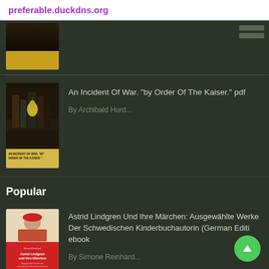preferable.duckdns.org
[Figure (photo): Book cover thumbnail for a dark-themed book, partially visible at top]
An Incident Of War. "by Order Of The Kaiser." pdf
By Archibald Hurd...
Popular
Astrid Lindgren Und Ihre Märchen: Ausgewählte Werke Der Schwedischen Kinderbuchautorin (German Editi ebook
By Simone Reinhard...